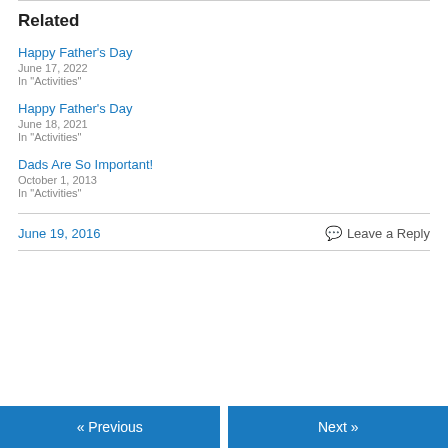Related
Happy Father's Day
June 17, 2022
In "Activities"
Happy Father's Day
June 18, 2021
In "Activities"
Dads Are So Important!
October 1, 2013
In "Activities"
June 19, 2016
Leave a Reply
« Previous   Next »